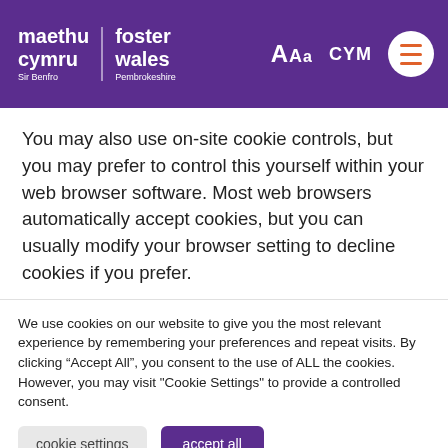maethu cymru | foster wales — Sir Benfro | Pembrokeshire — AAa CYM [menu]
You may also use on-site cookie controls, but you may prefer to control this yourself within your web browser software. Most web browsers automatically accept cookies, but you can usually modify your browser setting to decline cookies if you prefer.
We use cookies on our website to give you the most relevant experience by remembering your preferences and repeat visits. By clicking “Accept All”, you consent to the use of ALL the cookies. However, you may visit "Cookie Settings" to provide a controlled consent.
cookie settings   accept all